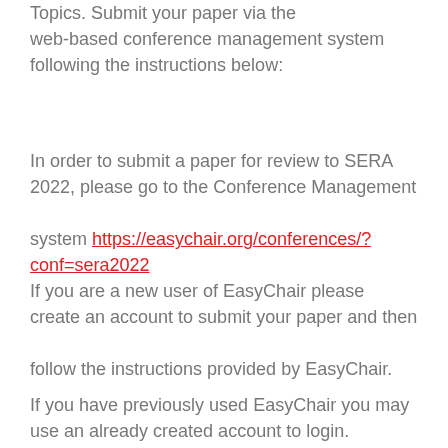Topics. Submit your paper via the web-based conference management system following the instructions below:
In order to submit a paper for review to SERA 2022, please go to the Conference Management system https://easychair.org/conferences/?conf=sera2022
If you are a new user of EasyChair please create an account to submit your paper and then follow the instructions provided by EasyChair.
If you have previously used EasyChair you may use an already created account to login.